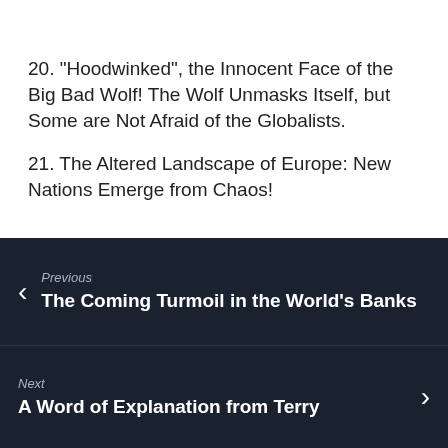Appetite for Lands and Control! | Messengers of Shiloh
20. "Hoodwinked", the Innocent Face of the Big Bad Wolf! The Wolf Unmasks Itself, but Some are Not Afraid of the Globalists.
21. The Altered Landscape of Europe: New Nations Emerge from Chaos!
Previous
The Coming Turmoil in the World's Banks
Next
A Word of Explanation from Terry